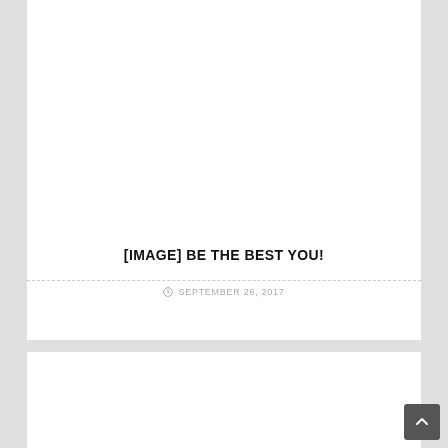[IMAGE] BE THE BEST YOU!
SEPTEMBER 26, 2017